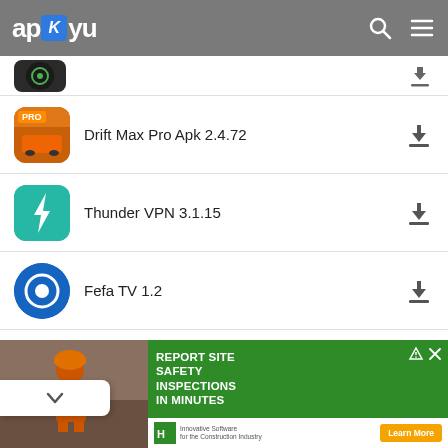apKyu
(partial row — app icon only, name truncated)
Drift Max Pro Apk 2.4.72
Thunder VPN 3.1.15
Fefa TV 1.2
Christmas Games-Bubble Shooter
[Figure (screenshot): Advertisement banner: REPORT SITE SAFETY INSPECTIONS IN MINUTES. Shows construction worker with tablet. Learn More button. Innovative Software for the Construction Industry.]